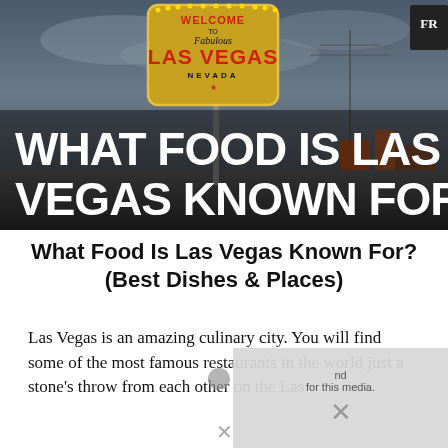[Figure (photo): Hero image showing the Welcome to Fabulous Las Vegas Nevada sign against a cloudy sky, with large white bold text overlay reading WHAT FOOD IS LAS VEGAS KNOWN FOR]
What Food Is Las Vegas Known For? (Best Dishes & Places)
Las Vegas is an amazing culinary city. You will find some of the most famous restaurants in the world just a stone's throw from each other on the Las